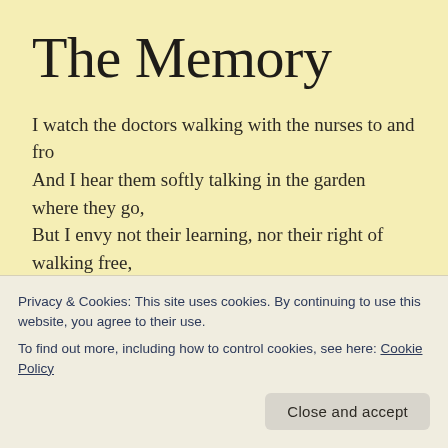The Memory
I watch the doctors walking with the nurses to and fro
And I hear them softly talking in the garden where they go,
But I envy not their learning, nor their right of walking free,
For the emperor of Tartary has died for love of me.

I can see his face all golden beneath his night-black hair,
Privacy & Cookies: This site uses cookies. By continuing to use this website, you agree to their use.
To find out more, including how to control cookies, see here: Cookie Policy
Close and accept